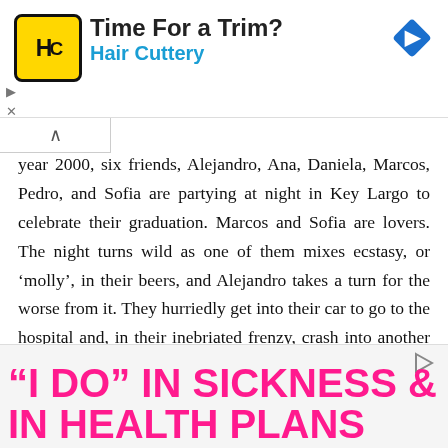[Figure (other): Hair Cuttery advertisement banner with yellow HC logo, bold text 'Time For a Trim?', blue subtext 'Hair Cuttery', and blue diamond navigation arrow icon on right]
year 2000, six friends, Alejandro, Ana, Daniela, Marcos, Pedro, and Sofia are partying at night in Key Largo to celebrate their graduation. Marcos and Sofia are lovers. The night turns wild as one of them mixes ecstasy, or ‘molly’, in their beers, and Alejandro takes a turn for the worse from it. They hurriedly get into their car to go to the hospital and, in their inebriated frenzy, crash into another car.
[Figure (other): Bottom advertisement with bold hot-pink text reading “I DO” IN SICKNESS & IN HEALTH PLANS]